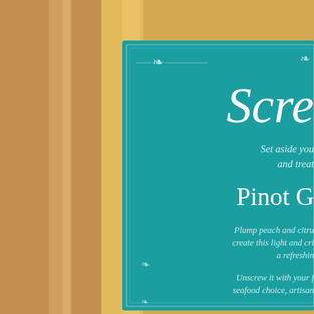[Figure (photo): Close-up photograph of a wine bottle with a teal/turquoise label partially visible. The label reads 'Scre...' (Screaming Eagle or similar brand) in large italic script. Below the brand name: 'Set aside you... and treat...' tagline in italic. Then 'Pinot G...' (Pinot Grigio or Gris) as the wine type. Description text reads: 'Plump peach and citru... create this light and cri... a refreshin...' and 'Unscrew it with your f... seafood choice, artisan...' A warm golden-brown wooden background is visible to the left of the bottle. The bottle body is golden/amber colored.]